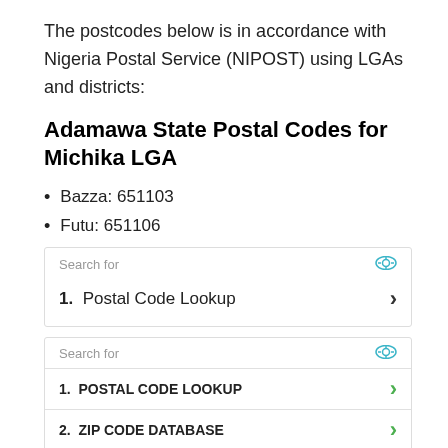The postcodes below is in accordance with Nigeria Postal Service (NIPOST) using LGAs and districts:
Adamawa State Postal Codes for Michika LGA
Bazza: 651103
Futu: 651106
[Figure (other): Ad box 1: Search for / eye icon, then item 1. Postal Code Lookup with right chevron arrow]
[Figure (other): Ad box 2: Search for / eye icon, item 1. POSTAL CODE LOOKUP with green chevron, item 2. ZIP CODE DATABASE with green chevron, footer with send icon]